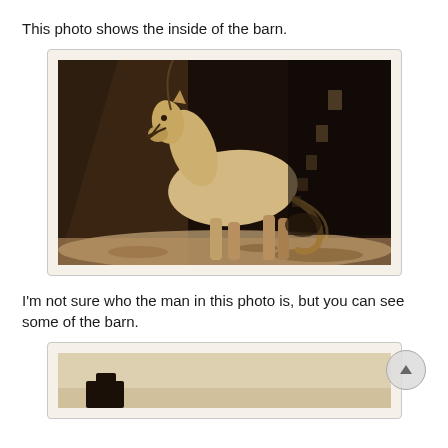This photo shows the inside of the barn.
[Figure (photo): Vintage sepia photograph of a light-colored horse standing inside a dark barn, with a lead rope attached to its bridle. Windows or openings can be seen along the barn wall in the background.]
I'm not sure who the man in this photo is, but you can see some of the barn.
[Figure (photo): Partial view of a second vintage photograph showing the bottom edge, with a light sepia background and a dark figure at the bottom, partially cut off.]